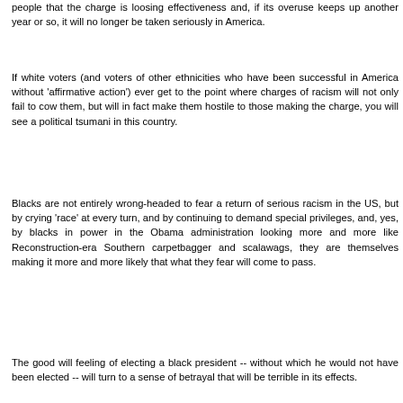people that the charge is loosing effectiveness and, if its overuse keeps up another year or so, it will no longer be taken seriously in America.
If white voters (and voters of other ethnicities who have been successful in America without 'affirmative action') ever get to the point where charges of racism will not only fail to cow them, but will in fact make them hostile to those making the charge, you will see a political tsumani in this country.
Blacks are not entirely wrong-headed to fear a return of serious racism in the US, but by crying 'race' at every turn, and by continuing to demand special privileges, and, yes, by blacks in power in the Obama administration looking more and more like Reconstruction-era Southern carpetbagger and scalawags, they are themselves making it more and more likely that what they fear will come to pass.
The good will feeling of electing a black president -- without which he would not have been elected -- will turn to a sense of betrayal that will be terrible in its effects.